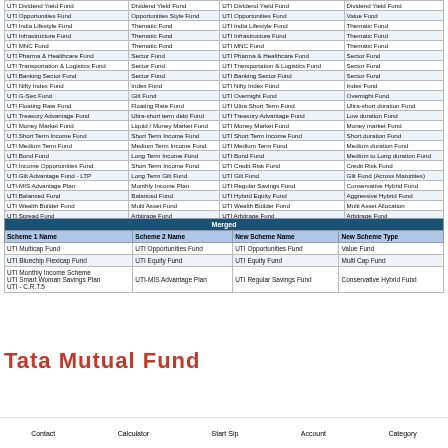| Scheme 1 Name | Scheme 1 Type | Scheme 2 Name | Scheme 2 Type |
| --- | --- | --- | --- |
| UTI Dividend Yield Fund | Dividend Yield Fund | UTI Dividend Yield Fund | Dividend Yield Fund |
| UTI Opportunities Fund | Opportunities Style Fund | UTI Opportunities Fund | Value Fund |
| UTI India Lifestyle Fund | Thematic Fund | UTI India Lifestyle Fund | Thematic Fund |
| UTI Infrastructure Fund | Thematic Fund | UTI Infrastructure Fund | Thematic Fund |
| UTI MNC Fund | Thematic Fund | UTI MNC Fund | Thematic Fund |
| UTI Pharma & Healthcare Fund | Sector Fund | UTI Pharma & Healthcare Fund | Sector Fund |
| UTI Transportation & Logistics Fund | Sector Fund | UTI Transportation & Logistics Fund | Sector Fund |
| UTI Banking Sector Fund | Sector Fund | UTI Banking Sector Fund | Sector Fund |
| UTI Nifty Index Fund | Index Fund | UTI Nifty Index Fund | Index Fund |
| UTI G-Sec Fund | Gilt Fund | UTI Overnight Fund | Overnight Fund |
| UTI Floating Rate Fund | Floating Rate Fund | UTI Ultra Short Term Fund | Ultra-short duration Fund |
| UTI Treasury Advantage Fund | Ultra-short term debt Fund | UTI Treasury Advantage Fund | Low duration Fund |
| UTI Money Market Fund | Liquid / Money Market Fund | UTI Money Market Fund | Money market Fund |
| UTI Short Term Income Fund | Short Term Income Fund | UTI Short Term Income Fund | Short duration Fund |
| UTI Medium Term Fund | Medium Term Income Fund | UTI Medium Term Fund | Medium duration Fund |
| UTI Bond Fund | Long Term Income Fund | UTI Bond Fund | Medium to Long duration Fund |
| UTI Income Opportunities Fund | Short Term Income Fund | UTI Credit Risk Fund | Credit Risk Fund |
| UTI Gilt Advantage Fund - LTP | Long Term Gilt Fund | UTI Gilt Fund | Gilt Fund (Across Maturities) |
| UTI-MIS Advantage Plan | Monthly Income Plan | UTI Regular Savings Fund | Conservative Hybrid Fund |
| UTI Balanced Fund | Balanced Fund | UTI Hybrid Equity Fund | Aggressive Hybrid Fund |
| UTI Wealth Builder Fund | Multi Asset Fund | UTI Wealth Builder Fund | Multi Asset Allocation |
| UTI Spread Fund | Arbitrage Fund | UTI Arbitrage Fund | Arbitrage Fund |
| UTI - Retirement Benefit Pension Fund | Pension Fund | UTI - Retirement Benefit Pension Fund | Retirement Fund |
| UTI-Children's Career Balanced Plan | Children's Fund | UTI CCF- Savings Plan | Children's Fund |
| UTI - CCP Advantage Fund | Children's Fund | UTI CCF- Investment Plan | Children's Fund |
| Scheme 1 Name | Scheme 2 Name | New Scheme Name | New Scheme Type |
| --- | --- | --- | --- |
| UTI Multicap Fund | UTI Opportunities Fund | UTI Opportunities Fund | Value Fund |
| UTI Bluechip Flexicap Fund | UTI Equity Fund | UTI Equity Fund | Multi Cap Fund |
| UTI Monthly Income Scheme
UTI Smart Woman Savings Plan
UTI - C.R.T.5 | UTI-MIS Advantage Plan | UTI Regular Savings Fund | Conservative Hybrid Fund |
Tata Mutual Fund
Contact  Calculator  Start Sip  Account  Category